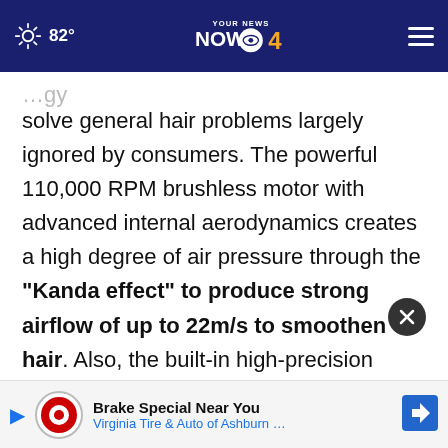82° | YOUR NEWS NOW CBS 4
solve general hair problems largely ignored by consumers. The powerful 110,000 RPM brushless motor with advanced internal aerodynamics creates a high degree of air pressure through the "Kanda effect" to produce strong airflow of up to 22m/s to smoothen hair. Also, the built-in high-precision temperature sensor and microprocessor achieve real-time calibration of air temperature to 100 ti... temperature does not exceed 176°F and scalp
[Figure (other): Ad banner: Brake Special Near You — Virginia Tire & Auto of Ashburn ...]